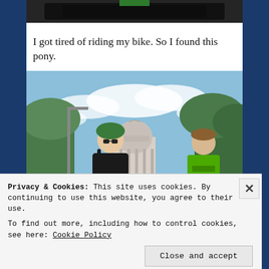[Figure (photo): Cropped top portion of a black object (possibly a bicycle tire or bag), partially visible at top of page]
I got tired of riding my bike. So I found this pony.
[Figure (photo): Two people standing outdoors with a capitol building dome visible in the background. One person wears a green helmet and black top; the other wears a green cycling jersey (Liquigas). Blue sky with clouds and trees visible.]
Privacy & Cookies: This site uses cookies. By continuing to use this website, you agree to their use.
To find out more, including how to control cookies, see here: Cookie Policy
Close and accept